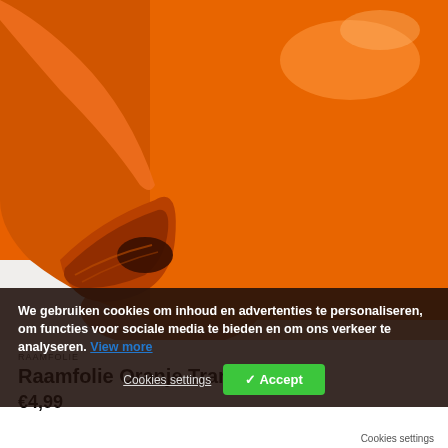[Figure (photo): Close-up photo of a roll of glossy orange vinyl film/folie being peeled back, showing the orange surface and the rolled edge against a white background.]
We gebruiken cookies om inhoud en advertenties te personaliseren, om functies voor sociale media te bieden en om ons verkeer te analyseren. View more
Cookies settings  ✓ Accept
RAAMFOLIE
Raamfolie Oranje Transpar...
€4,99
Cookies settings